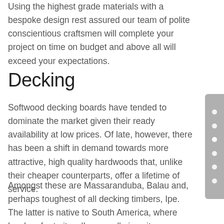Using the highest grade materials with a bespoke design rest assured our team of polite conscientious craftsmen will complete your project on time on budget and above all will exceed your expectations.
Decking
Softwood decking boards have tended to dominate the market given their ready availability at low prices. Of late, however, there has been a shift in demand towards more attractive, high quality hardwoods that, unlike their cheaper counterparts, offer a lifetime of service.
Amongst these are Massaranduba, Balau and, perhaps toughest of all decking timbers, Ipe. The latter is native to South America, where locals refer to it as 'Ironwood' given its outstanding durability, density and natural resistance to both insect and